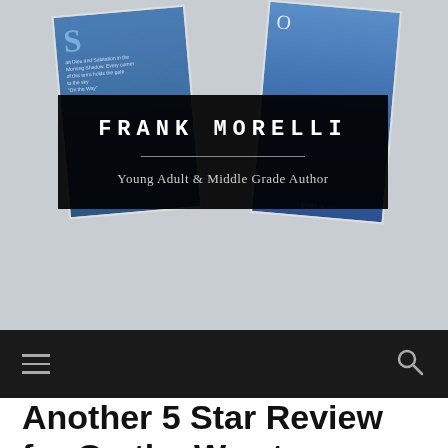[Figure (photo): Website header image showing two book covers with blue covers leaning against a white brick wall background, with a black overlay banner displaying the author name and tagline]
FRANK MORELLI
Young Adult & Middle Grade Author
[Figure (other): Black navigation bar with hamburger menu icon on the left and search icon on the right]
Another 5 Star Review for On the Way to Birdland